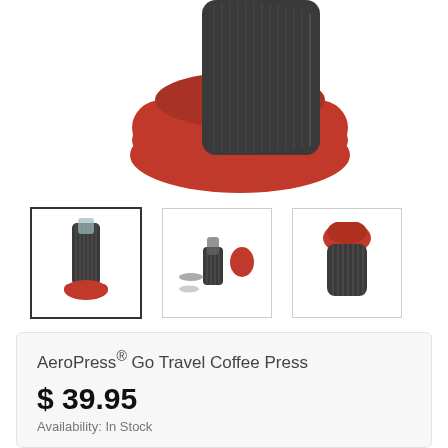[Figure (photo): Close-up photo of AeroPress Go Travel Coffee Press showing the dark grey ribbed body with red silicone cap/mug lid, partially assembled, against a white background.]
[Figure (photo): Thumbnail row showing three product images: (1) selected thumbnail with border showing AeroPress Go assembled upright with red cap, (2) disassembled parts laid out including strainer and cap, (3) side view of assembled AeroPress Go with red top.]
AeroPress® Go Travel Coffee Press
$ 39.95
Availability: In Stock